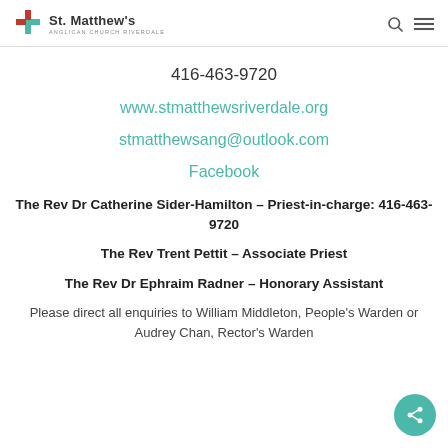St. Matthew's Anglican Church Riverdale
416-463-9720
www.stmatthewsriverdale.org
stmatthewsang@outlook.com
Facebook
The Rev Dr Catherine Sider-Hamilton – Priest-in-charge: 416-463-9720
The Rev Trent Pettit – Associate Priest
The Rev Dr Ephraim Radner – Honorary Assistant
Please direct all enquiries to William Middleton, People's Warden or Audrey Chan, Rector's Warden